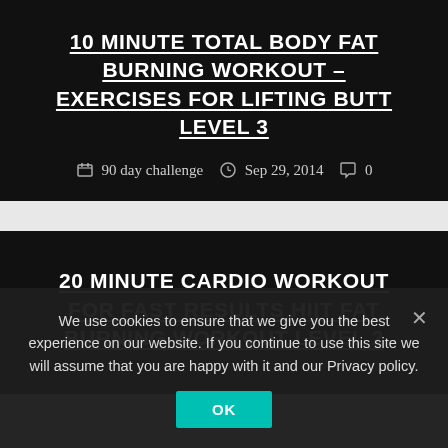10 MINUTE TOTAL BODY FAT BURNING WORKOUT – EXERCISES FOR LIFTING BUTT LEVEL 3
90 day challenge   Sep 29, 2014   0
20 MINUTE CARDIO WORKOUT FOR FAST RESULTS HIIT FAT BURNING WORKOUT LEVEL 2
We use cookies to ensure that we give you the best experience on our website. If you continue to use this site we will assume that you are happy with it and our Privacy policy.